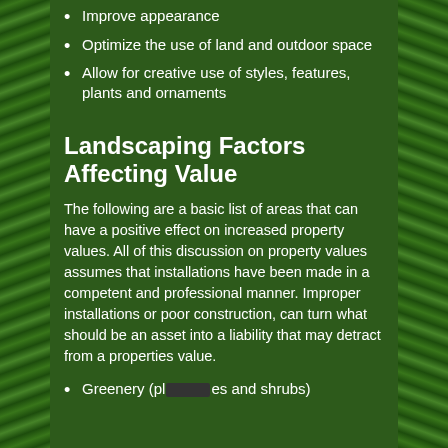Improve appearance
Optimize the use of land and outdoor space
Allow for creative use of styles, features, plants and ornaments
Landscaping Factors Affecting Value
The following are a basic list of areas that can have a positive effect on increased property values. All of this discussion on property values assumes that installations have been made in a competent and professional manner. Improper installations or poor construction, can turn what should be an asset into a liability that may detract from a properties value.
Greenery (plants and shrubs)